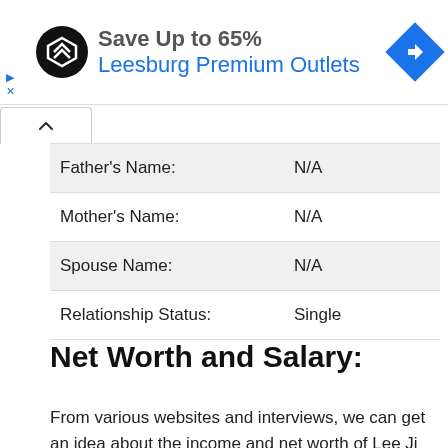[Figure (other): Advertisement banner for Leesburg Premium Outlets showing logo, save up to 65% text, and navigation icon]
| Father's Name: | N/A |
| Mother's Name: | N/A |
| Spouse Name: | N/A |
| Relationship Status: | Single |
Net Worth and Salary:
From various websites and interviews, we can get an idea about the income and net worth of Lee Ji